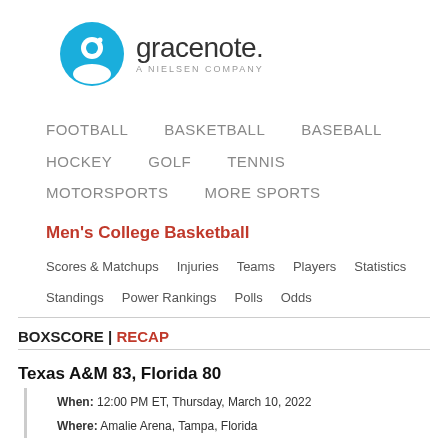[Figure (logo): Gracenote logo — blue circle with white 'g' icon, wordmark 'gracenote.' and tagline 'A NIELSEN COMPANY']
FOOTBALL   BASKETBALL   BASEBALL
HOCKEY   GOLF   TENNIS
MOTORSPORTS   MORE SPORTS
Men's College Basketball
Scores & Matchups   Injuries   Teams   Players   Statistics
Standings   Power Rankings   Polls   Odds
BOXSCORE | RECAP
Texas A&M 83, Florida 80
When: 12:00 PM ET, Thursday, March 10, 2022
Where: Amalie Arena, Tampa, Florida